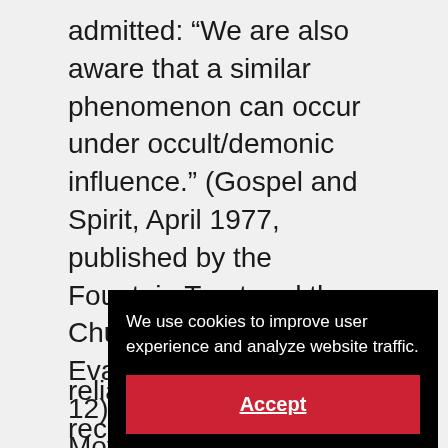admitted: “We are also aware that a similar phenomenon can occur under occult/demonic influence.” (Gospel and Spirit, April 1977, published by the Fountain Trust and the Church of England Evangelical Council, p. 12) The book Religious Movements in Contemporary America (edited by Irving I. Zaretsky and Mark P. Leone, quoting L. P. Gerlach) reports that in Haiti ‘speaking in tongues’ is characteristic of both Pe... (P... Th... Cl... ve... to...
We use cookies to improve user experience and analyze website traffic.
Accept
reliable record of anyone receiving that same